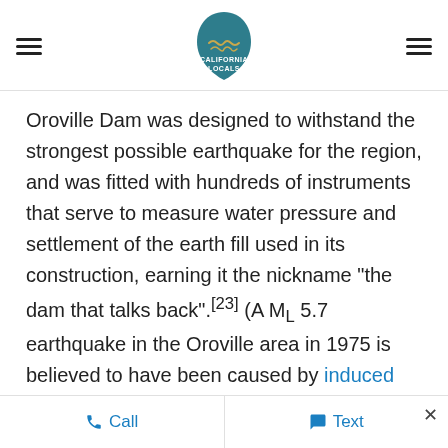California Locals logo with hamburger menus
Oroville Dam was designed to withstand the strongest possible earthquake for the region, and was fitted with hundreds of instruments that serve to measure water pressure and settlement of the earth fill used in its construction, earning it the nickname "the dam that talks back".[23] (A ML 5.7 earthquake in the Oroville area in 1975 is believed to have been caused by induced seismicity from the weight of the Oroville Dam and reservoir on a local fault line.[24]) The embankment was finally topped out on October 6, 1967, with the last of 155 million tons (140.6 million t)
Call   Text